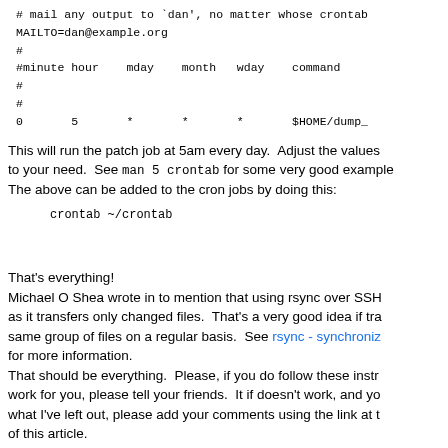# mail any output to `dan', no matter whose crontab
MAILTO=dan@example.org
#
#minute hour    mday    month   wday    command
#
#
0       5       *       *       *       $HOME/dump_
This will run the patch job at 5am every day.  Adjust the values to your need.  See man 5 crontab for some very good examples. The above can be added to the cron jobs by doing this:
crontab ~/crontab
That's everything!
Michael O Shea wrote in to mention that using rsync over SSH as it transfers only changed files.  That's a very good idea if tra same group of files on a regular basis.  See rsync - synchroniz for more information.
That should be everything.  Please, if you do follow these instr work for you, please tell your friends.  It if doesn't work, and yo what I've left out, please add your comments using the link at t of this article.